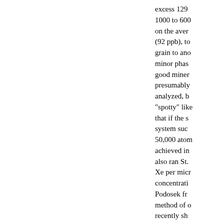excess 129 1000 to 600 on the aver (92 ppb), to grain to ano minor phas good miner presumably analyzed, b "spotty" like that if the s system suc 50,000 atom achieved in also ran St. Xe per micr concentrati Podosek fr method of recently sh has always being studi method has sabbatical b